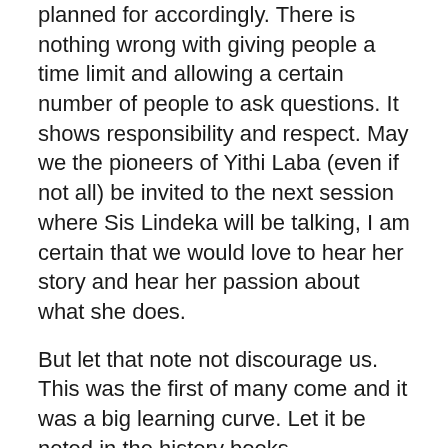planned for accordingly. There is nothing wrong with giving people a time limit and allowing a certain number of people to ask questions. It shows responsibility and respect. May we the pioneers of Yithi Laba (even if not all) be invited to the next session where Sis Lindeka will be talking, I am certain that we would love to hear her story and hear her passion about what she does.
But let that note not discourage us. This was the first of many come and it was a big learning curve. Let it be noted in the history books.
We pioneered Yithi Laba Intergenerational Youth Conference. We opened up a gateway for those who will follow.
My special thanks to the cook my mother and mother to all Fufu.
To mme Dumse thank meme for fitting us into your